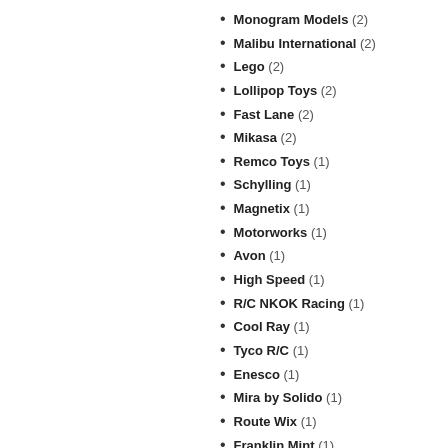Monogram Models (2)
Malibu International (2)
Lego (2)
Lollipop Toys (2)
Fast Lane (2)
Mikasa (2)
Remco Toys (1)
Schylling (1)
Magnetix (1)
Motorworks (1)
Avon (1)
High Speed (1)
R/C NKOK Racing (1)
Cool Ray (1)
Tyco R/C (1)
Enesco (1)
Mira by Solido (1)
Route Wix (1)
Franklin Mint (1)
Testors (1)
Road Legend (1)